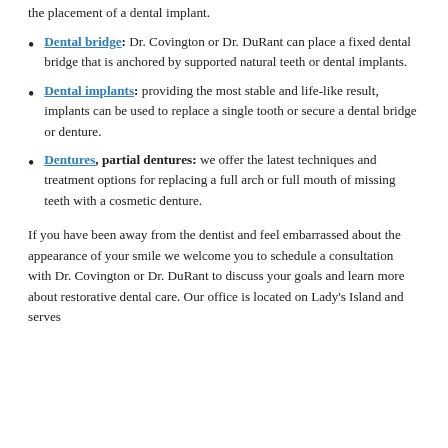the placement of a dental implant.
Dental bridge: Dr. Covington or Dr. DuRant can place a fixed dental bridge that is anchored by supported natural teeth or dental implants.
Dental implants: providing the most stable and life-like result, implants can be used to replace a single tooth or secure a dental bridge or denture.
Dentures, partial dentures: we offer the latest techniques and treatment options for replacing a full arch or full mouth of missing teeth with a cosmetic denture.
If you have been away from the dentist and feel embarrassed about the appearance of your smile we welcome you to schedule a consultation with Dr. Covington or Dr. DuRant to discuss your goals and learn more about restorative dental care. Our office is located on Lady’s Island and serves